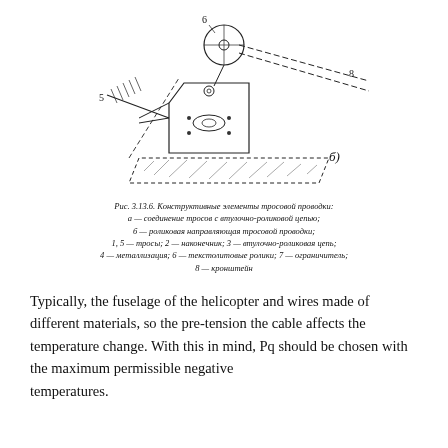[Figure (engineering-diagram): Technical diagram of cable routing structural elements showing pulley system (б variant) with labeled parts: 5 (rod/strut), 6 (pulley wheel at top), 8 (dashed cable run to right), and various mechanical components including bracket, rollers, and cable connections.]
Рис. 3.13.6. Конструктивные элементы тросовой проводки:
а — соединение тросов с втулочно-роликовой цепью;
б — роликовая направляющая тросовой проводки;
1, 5 — тросы; 2 — наконечник; 3 — втулочно-роликовая цепь;
4 — металлизация; 6 — текстолитовые ролики; 7 — ограничитель;
8 — кронштейн
Typically, the fuselage of the helicopter and wires made of different materials, so the pre-tension the cable affects the temperature change. With this in mind, Pq should be chosen with the maximum permissible negative
temperatures.
In order to design at positive temperatures wire tension was too great for helicopters like nevysotnyh ЛА, we can recommend the seasonal adjustment of the tension cables (summer and winter). In this case, the maximum temperature difference will not exceed 60 ° C, and the